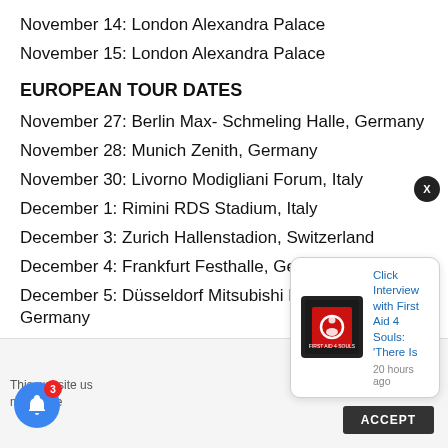November 14: London Alexandra Palace
November 15: London Alexandra Palace
EUROPEAN TOUR DATES
November 27: Berlin Max- Schmeling Halle, Germany
November 28: Munich Zenith, Germany
November 30: Livorno Modigliani Forum, Italy
December 1: Rimini RDS Stadium, Italy
December 3: Zurich Hallenstadion, Switzerland
December 4: Frankfurt Festhalle, Germany
December 5: Düsseldorf Mitsubishi Electric Hall, Germany
This website us... me you're...
[Figure (screenshot): Notification popup with First Aid 4 Souls logo and link 'Click Interview with First Aid 4 Souls: There Is' posted 20 hours ago]